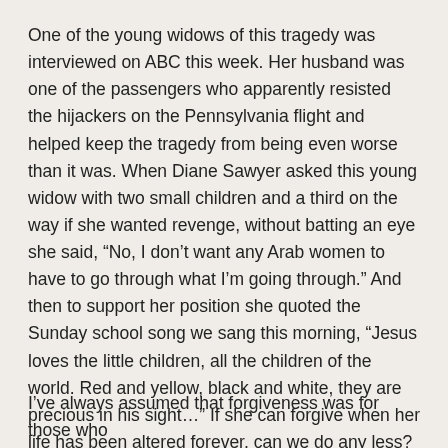One of the young widows of this tragedy was interviewed on ABC this week. Her husband was one of the passengers who apparently resisted the hijackers on the Pennsylvania flight and helped keep the tragedy from being even worse than it was. When Diane Sawyer asked this young widow with two small children and a third on the way if she wanted revenge, without batting an eye she said, “No, I don’t want any Arab women to have to go through what I’m going through.” And then to support her position she quoted the Sunday school song we sang this morning, “Jesus loves the little children, all the children of the world. Red and yellow, black and white, they are precious in his sight…” If she can forgive when her life has been altered forever, can we do any less?
I’ve always assumed that forgiveness was for those who